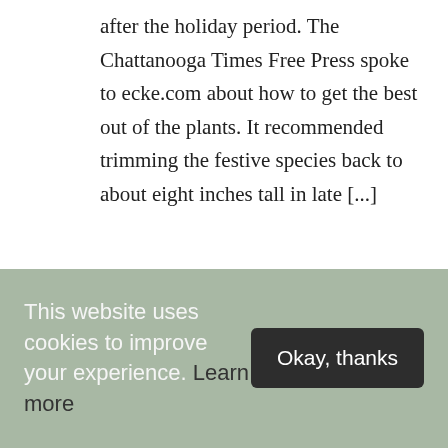after the holiday period. The Chattanooga Times Free Press spoke to ecke.com about how to get the best out of the plants. It recommended trimming the festive species back to about eight inches tall in late [...]
Read more
DECEMBER 16, 2010
GARDENING TIPS WEBSITE EXPANDS
This website uses cookies to improve your experience. Learn more